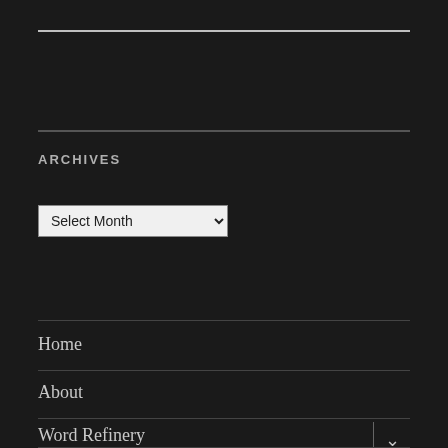ARCHIVES
[Figure (screenshot): A dropdown select input with 'Select Month' placeholder text]
Home
About
Word Refinery